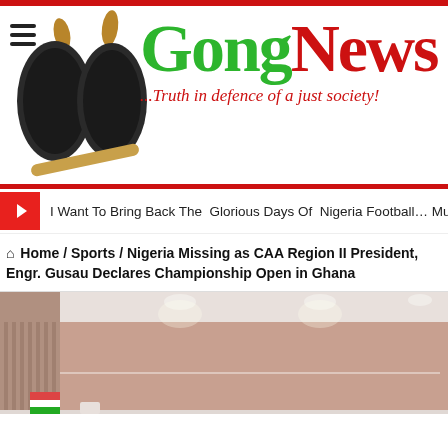[Figure (logo): GongNews website logo with two gong instruments and text 'GongNews ...Truth in defence of a just society!']
I Want To Bring Back The Glorious Days Of Nigeria Football… Musa Ahma
Home / Sports / Nigeria Missing as CAA Region II President, Engr. Gusau Declares Championship Open in Ghana
[Figure (photo): Interior room photo showing a table tennis or sports facility with salmon/pink walls, white ceiling with recessed lighting, and flags or objects on a white table]